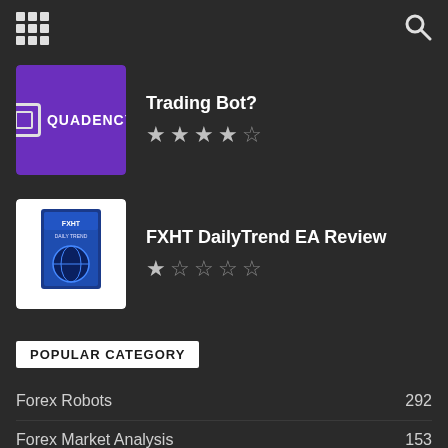[Figure (screenshot): Grid/apps icon in top left navigation bar]
[Figure (screenshot): Search magnifying glass icon in top right navigation bar]
[Figure (logo): Quadency purple logo thumbnail]
Trading Bot?
[Figure (other): 4 out of 5 stars rating for Trading Bot]
[Figure (photo): FXHT Daily Trend product box thumbnail]
FXHT DailyTrend EA Review
[Figure (other): 1 out of 5 stars rating for FXHT DailyTrend EA]
POPULAR CATEGORY
Forex Robots 292
Forex Market Analysis 153
Featured Robots 132
Tips & Tricks 125
Crypto 105